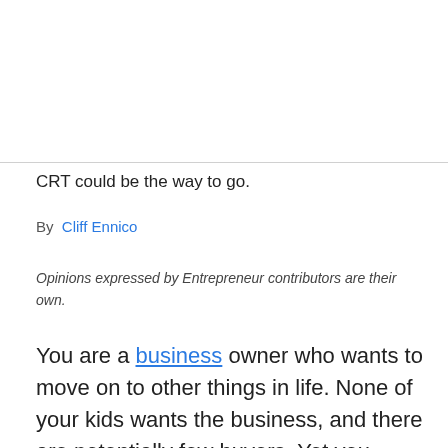CRT could be the way to go.
By  Cliff Ennico
Opinions expressed by Entrepreneur contributors are their own.
You are a business owner who wants to move on to other things in life. None of your kids wants the business, and there are potentially few buyers. Yet you would like to get something for all your years of hard work